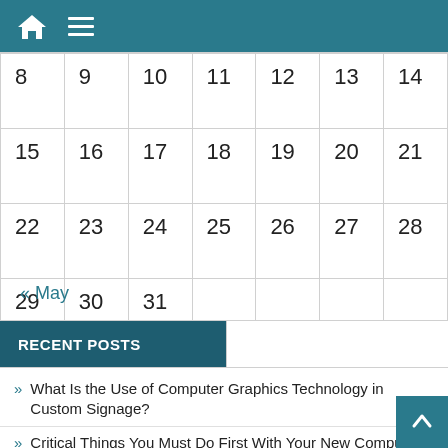Navigation bar with home icon and menu icon
| 8 | 9 | 10 | 11 | 12 | 13 | 14 |
| 15 | 16 | 17 | 18 | 19 | 20 | 21 |
| 22 | 23 | 24 | 25 | 26 | 27 | 28 |
| 29 | 30 | 31 |  |  |  |  |
« May
RECENT POSTS
What Is the Use of Computer Graphics Technology in Custom Signage?
Critical Things You Must Do First With Your New Computer
The Benefits of Submersible Stirrers